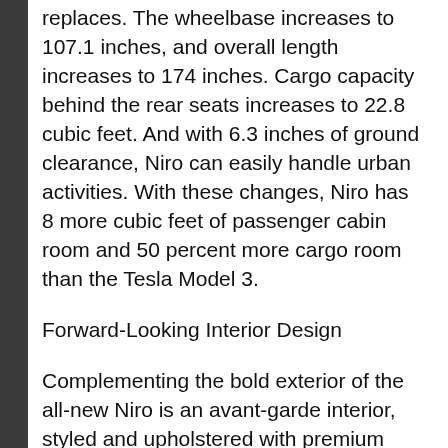replaces. The wheelbase increases to 107.1 inches, and overall length increases to 174 inches. Cargo capacity behind the rear seats increases to 22.8 cubic feet. And with 6.3 inches of ground clearance, Niro can easily handle urban activities. With these changes, Niro has 8 more cubic feet of passenger cabin room and 50 percent more cargo room than the Tesla Model 3.
Forward-Looking Interior Design
Complementing the bold exterior of the all-new Niro is an avant-garde interior, styled and upholstered with premium materials and textured surfaces. Its parametric design borrows cues from the all-electric EV6 for a tech-focused environment in all configurations and trims.
Upscale touches abound inside the 2023 Niro, and